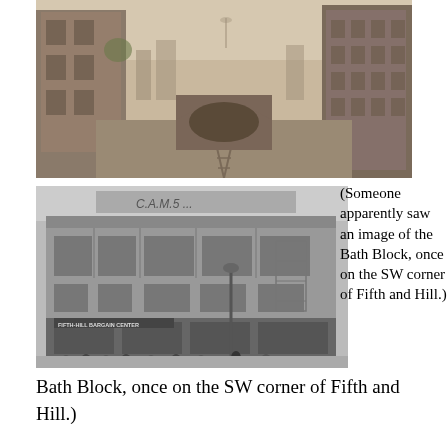[Figure (photo): Sepia-toned historical photograph of a city street with railroad tracks leading toward an arched tunnel. Buildings line both sides of the street. A city skyline with various structures is visible in the background beyond the tunnel.]
[Figure (photo): Black and white historical photograph of a multi-story commercial building (the Bath Block) on the SW corner of Fifth and Hill. A sign reads 'FIFTH-HILL BARGAIN CENTER'. People are gathered on the sidewalk in front of the building's storefronts.]
(Someone apparently saw an image of the Bath Block, once on the SW corner of Fifth and Hill.)